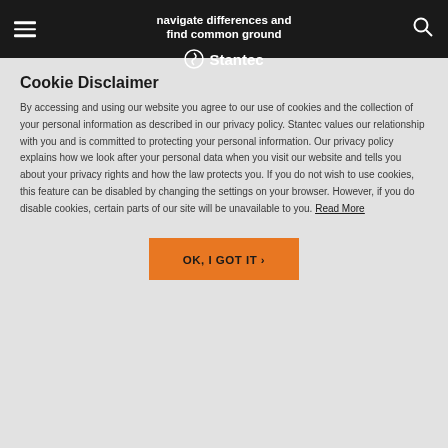navigate differences and find common ground Stantec
Cookie Disclaimer
By accessing and using our website you agree to our use of cookies and the collection of your personal information as described in our privacy policy. Stantec values our relationship with you and is committed to protecting your personal information. Our privacy policy explains how we look after your personal data when you visit our website and tells you about your privacy rights and how the law protects you. If you do not wish to use cookies, this feature can be disabled by changing the settings on your browser. However, if you do disable cookies, certain parts of our site will be unavailable to you. Read More
OK, I GOT IT ›